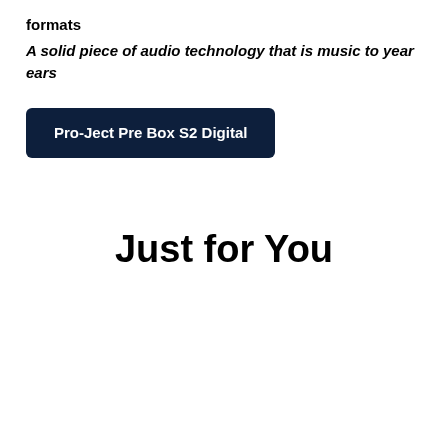formats
A solid piece of audio technology that is music to year ears
Pro-Ject Pre Box S2 Digital
Just for You